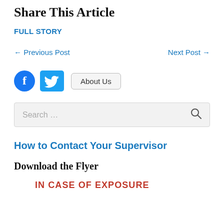Share This Article
FULL STORY
← Previous Post   Next Post →
[Figure (illustration): Facebook and Twitter social media icons, and an About Us button]
Search …
How to Contact Your Supervisor
Download the Flyer
IN CASE OF EXPOSURE